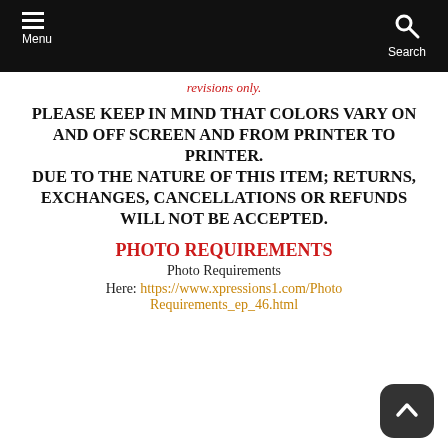Menu | Search
revisions only.
PLEASE KEEP IN MIND THAT COLORS VARY ON AND OFF SCREEN AND FROM PRINTER TO PRINTER. DUE TO THE NATURE OF THIS ITEM; RETURNS, EXCHANGES, CANCELLATIONS OR REFUNDS WILL NOT BE ACCEPTED.
PHOTO REQUIREMENTS
Photo Requirements
Here: https://www.xpressions1.com/Photo_Requirements_ep_46.html